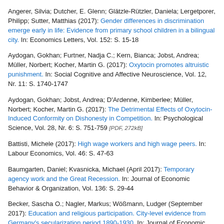Angerer, Silvia; Dutcher, E. Glenn; Glätzle-Rützler, Daniela; Lergetporer, Philipp; Sutter, Matthias (2017): Gender differences in discrimination emerge early in life: Evidence from primary school children in a bilingual city. In: Economics Letters, Vol. 152: S. 15-18
Aydogan, Gokhan; Furtner, Nadja C.; Kern, Bianca; Jobst, Andrea; Müller, Norbert; Kocher, Martin G. (2017): Oxytocin promotes altruistic punishment. In: Social Cognitive and Affective Neuroscience, Vol. 12, Nr. 11: S. 1740-1747
Aydogan, Gokhan; Jobst, Andrea; D'Ardenne, Kimberlee; Müller, Norbert; Kocher, Martin G. (2017): The Detrimental Effects of Oxytocin-Induced Conformity on Dishonesty in Competition. In: Psychological Science, Vol. 28, Nr. 6: S. 751-759 [PDF, 272kB]
Battisti, Michele (2017): High wage workers and high wage peers. In: Labour Economics, Vol. 46: S. 47-63
Baumgarten, Daniel; Kvasnicka, Michael (April 2017): Temporary agency work and the Great Recession. In: Journal of Economic Behavior & Organization, Vol. 136: S. 29-44
Becker, Sascha O.; Nagler, Markus; Wößmann, Ludger (September 2017): Education and religious participation. City-level evidence from Germany's secularization period 1890-1930. In: Journal of Economic Growth, Vol. 22, Nr. 3: S. 273-311
Beestermöller, Matthias (10. Januar 2017): Striking Evidence? Demand...